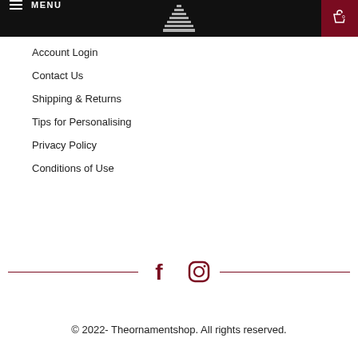MENU
Account Login
Contact Us
Shipping & Returns
Tips for Personalising
Privacy Policy
Conditions of Use
[Figure (illustration): Facebook and Instagram social media icons flanked by dark red horizontal lines]
© 2022- Theornamentshop. All rights reserved.